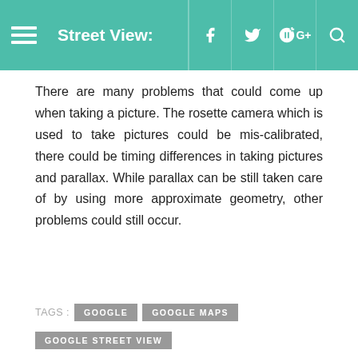Street View:
There are many problems that could come up when taking a picture. The rosette camera which is used to take pictures could be mis-calibrated, there could be timing differences in taking pictures and parallax. While parallax can be still taken care of by using more approximate geometry, other problems could still occur.
TAGS : GOOGLE   GOOGLE MAPS   GOOGLE STREET VIEW
< PREVIOUS ARTICLE
Six Gestures You Need To Learn For IPhone X
NEXT ARTICLE >
eator App Unveiled Just Ma…